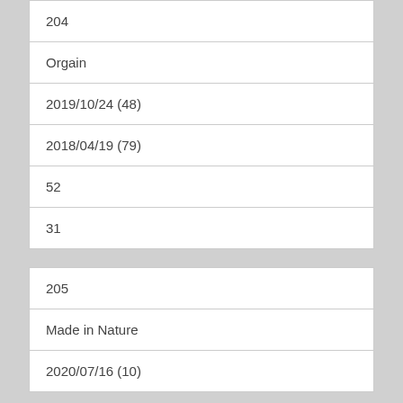| 204 |
| Orgain |
| 2019/10/24 (48) |
| 2018/04/19 (79) |
| 52 |
| 31 |
| 205 |
| Made in Nature |
| 2020/07/16 (10) |